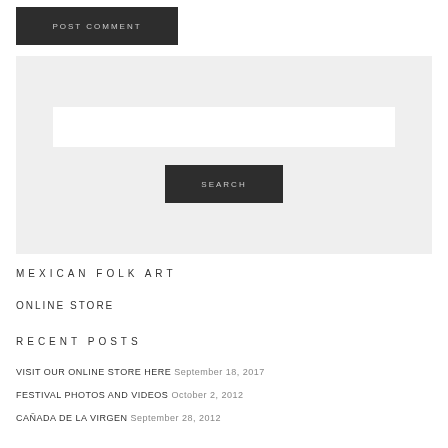[Figure (screenshot): POST COMMENT dark button]
[Figure (screenshot): Search widget with text input field and SEARCH button on grey background]
MEXICAN FOLK ART
ONLINE STORE
RECENT POSTS
VISIT OUR ONLINE STORE HERE September 18, 2017
FESTIVAL PHOTOS AND VIDEOS October 2, 2012
CAÑADA DE LA VIRGEN September 28, 2012